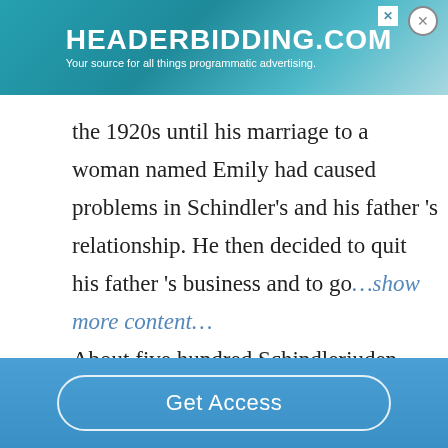[Figure (screenshot): Advertisement banner for headerbidding.com with teal/blue gradient background and white text]
the 1920s until his marriage to a woman named Emily had caused problems in Schindler’s and his father’s relationship. He then decided to quit his father’s business and to go…show more content…
About five hundred Schindlerjuden attended his funeral and watched as his body was laid to rest in the Catholic cemetery on Mount
Get Access